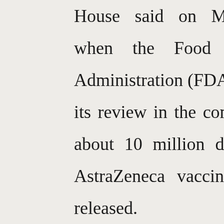House said on Monday that when the Food and Drug Administration (FDA) completes its review in the coming weeks, about 10 million doses of the AstraZeneca vaccine could be released.

Another 50 million doses are said to be in different stages of development. Jen Psaki,